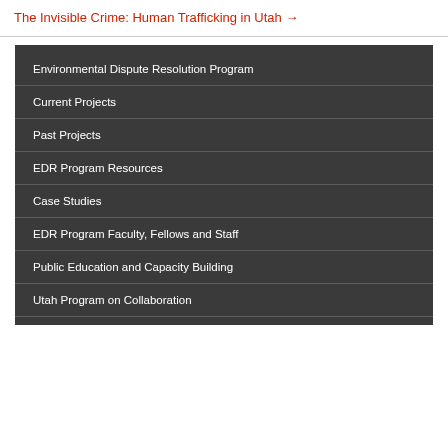The Invisible Crime: Human Trafficking in Utah →
Environmental Dispute Resolution Program
Current Projects
Past Projects
EDR Program Resources
Case Studies
EDR Program Faculty, Fellows and Staff
Public Education and Capacity Building
Utah Program on Collaboration